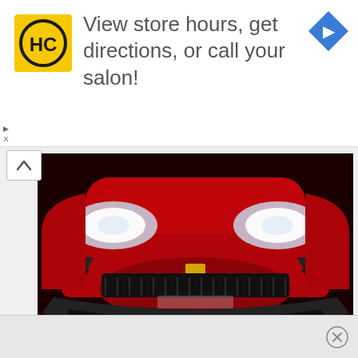[Figure (advertisement): HC Salon ad banner with yellow/black HC logo, text 'View store hours, get directions, or call your salon!' and a blue navigation arrow icon]
View store hours, get directions, or call your salon!
[Figure (photo): Close-up front view of a red Ferrari 296 GT3 race car with dramatic lighting showing the front splitter, headlights and body detail]
Ferrari shows the 296 GT3 race car
[Figure (other): Bottom ad bar with close/dismiss X button]